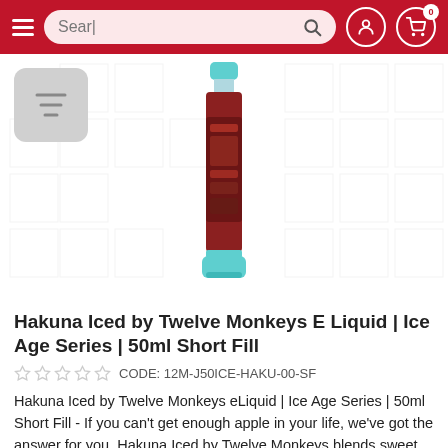[Figure (screenshot): Mobile e-commerce website navigation bar with hamburger menu, search bar reading 'Sear|', user icon, and cart icon with badge '0']
[Figure (photo): Product image of Hakuna Iced by Twelve Monkeys E Liquid bottle (Ice Age Series, 50ml Short Fill) against a white background with faint grid pattern. A filter/sort button is visible top-left.]
Hakuna Iced by Twelve Monkeys E Liquid | Ice Age Series | 50ml Short Fill
☆ ☆ ☆ ☆ ☆   CODE: 12M-J50ICE-HAKU-00-SF
Hakuna Iced by Twelve Monkeys eLiquid | Ice Age Series | 50ml Short Fill - If you can't get enough apple in your life, we've got the answer for you. Hakuna Iced by Twelve Monkeys blends sweet Fuji apples with tart Granny Smith apples to create an e-liquid that expresses the full range of complexity in everyone's favourite fruit. With a bit of cranberry -- and some cool menthol -- thrown in for added deliciousness, this e-liquid is a complete experience for the entire palate.